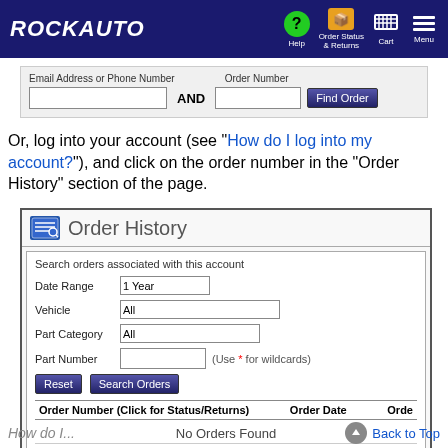[Figure (screenshot): RockAuto navigation bar with logo, Help, Order Status & Returns, Cart, and Menu icons]
[Figure (screenshot): Find Order form with Email Address or Phone Number field, AND label, Order Number field, and Find Order button]
Or, log into your account (see "How do I log into my account?"), and click on the order number in the "Order History" section of the page.
[Figure (screenshot): Order History section showing search form with Date Range (1 Year), Vehicle (All), Part Category (All), Part Number fields, Reset and Search Orders buttons, order results table header showing Order Number (Click for Status/Returns), Order Date, Order columns, No Orders Found message, and Add an order not associated with this account section with Email Address or Phone Number and Order Number fields]
How do I...   Back to Top